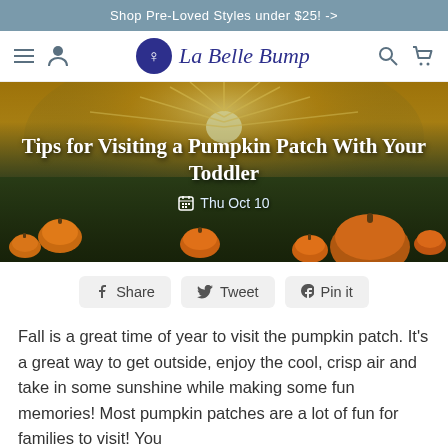Shop Pre-Loved Styles under $25! ->
[Figure (logo): La Belle Bump logo with navigation icons]
[Figure (photo): Pumpkin patch at sunset with pumpkins on green grass and golden light rays]
Tips for Visiting a Pumpkin Patch With Your Toddler
Thu Oct 10
Share  Tweet  Pin it
Fall is a great time of year to visit the pumpkin patch. It's a great way to get outside, enjoy the cool, crisp air and take in some sunshine while making some fun memories! Most pumpkin patches are a lot of fun for families to visit! You